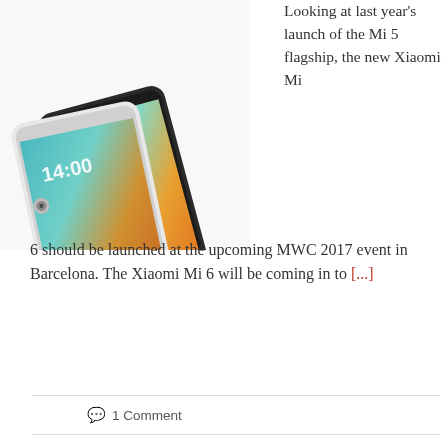[Figure (photo): Two Xiaomi Mi smartphones overlapping, showing colorful lock screen display (teal, orange, yellow gradient) with time 14:00, dark and white phone bodies]
Looking at last year's launch of the Mi 5 flagship, the new Xiaomi Mi 6 should be launched at the upcoming MWC 2017 event in Barcelona. The Xiaomi Mi 6 will be coming in to [...]
1 Comment
Smartphones
MWC 2017, Xiaomi, Xiaomi Mi 5, Xiaomi Mi 6